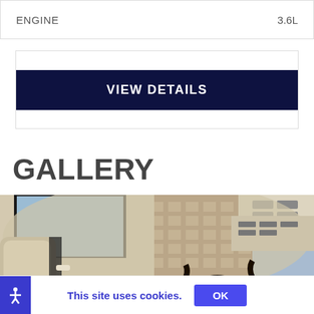ENGINE   3.6L
VIEW DETAILS
GALLERY
[Figure (photo): Interior view of a luxury vehicle from the rear seat perspective, showing panoramic sunroof open to a city skyline with a tall brick building. A woman with curly hair is seated smiling, interior features cream/beige leather upholstery and overhead controls. A right-arrow navigation button is overlaid on the right edge.]
This site uses cookies.
OK